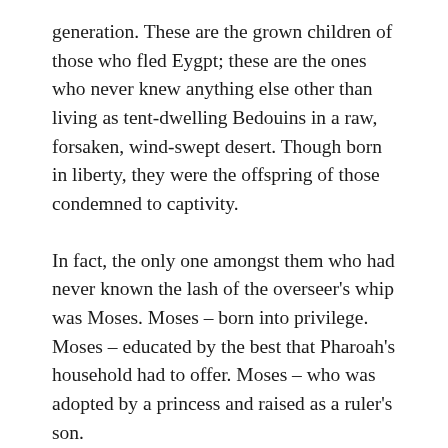generation. These are the grown children of those who fled Eygpt; these are the ones who never knew anything else other than living as tent-dwelling Bedouins in a raw, forsaken, wind-swept desert. Though born in liberty, they were the offspring of those condemned to captivity.
In fact, the only one amongst them who had never known the lash of the overseer's whip was Moses. Moses – born into privilege. Moses – educated by the best that Pharoah's household had to offer. Moses – who was adopted by a princess and raised as a ruler's son.